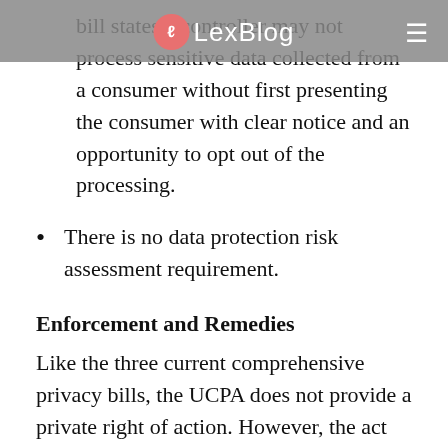LexBlog
bill states a controller may not process sensitive data collected from a consumer without first presenting the consumer with clear notice and an opportunity to opt out of the processing.
There is no data protection risk assessment requirement.
Enforcement and Remedies
Like the three current comprehensive privacy bills, the UCPA does not provide a private right of action. However, the act creates a split system where the Department of Commerce's Consumer Protection Office will provide...